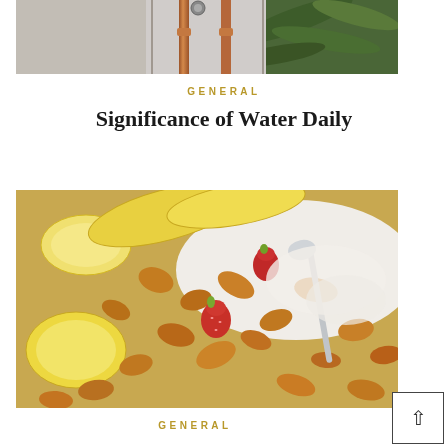[Figure (photo): Photo of copper pipes or equipment partially visible, with lush green ferns in the background on the right side]
GENERAL
Significance of Water Daily
[Figure (photo): Close-up photo of a bowl of cereal with banana slices, strawberry pieces, and milk]
GENERAL